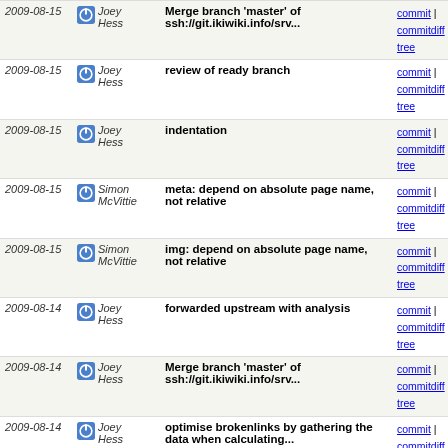| Date | Author | Commit | Links |
| --- | --- | --- | --- |
| 2009-08-15 | Joey Hess | Merge branch 'master' of ssh://git.ikiwiki.info/srv... | commit | commitdiff | tree |
| 2009-08-15 | Joey Hess | review of ready branch | commit | commitdiff | tree |
| 2009-08-15 | Joey Hess | indentation | commit | commitdiff | tree |
| 2009-08-15 | Simon McVittie | meta: depend on absolute page name, not relative | commit | commitdiff | tree |
| 2009-08-15 | Simon McVittie | img: depend on absolute page name, not relative | commit | commitdiff | tree |
| 2009-08-14 | Joey Hess | forwarded upstream with analysis | commit | commitdiff | tree |
| 2009-08-14 | Joey Hess | Merge branch 'master' of ssh://git.ikiwiki.info/srv... | commit | commitdiff | tree |
| 2009-08-14 | Joey Hess | optimise brokenlinks by gathering the data when calculating... | commit | commitdiff | tree |
| 2009-08-14 | Joey Hess | orphans: Reuse backlinks info | commit | commitdiff | tree |
| 2009-08-14 | Joey Hess | po: use discussionpage config setting | commit | commitdiff | tree |
| 2009-08-14 | Joey Hess | Add discussionpage configuration setting | commit | commitdiff | tree |
| 2009-08-14 | Joey Hess | change PROFILE to use ... | commit | commitdiff |